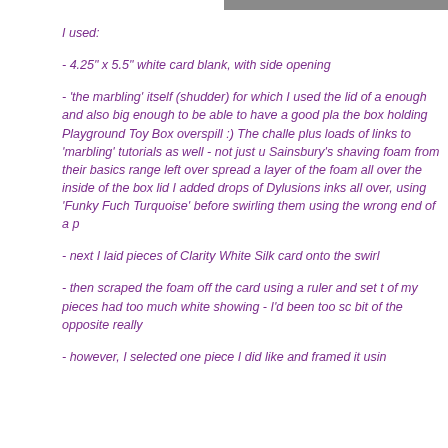[Figure (photo): Partial photo strip visible at top right of page]
I used:
- 4.25" x 5.5" white card blank, with side opening
- 'the marbling' itself (shudder) for which I used the lid of a enough and also big enough to be able to have a good pla the box holding Playground Toy Box overspill :) The challe plus loads of links to 'marbling' tutorials as well - not just u Sainsbury's shaving foam from their basics range left over spread a layer of the foam all over the inside of the box lid I added drops of Dylusions inks all over, using 'Funky Fuch Turquoise' before swirling them using the wrong end of a p
- next I laid pieces of Clarity White Silk card onto the swirl
- then scraped the foam off the card using a ruler and set t of my pieces had too much white showing - I'd been too sc bit of the opposite really
- however, I selected one piece I did like and framed it usin